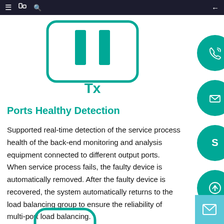[Figure (illustration): Teal/green outlined rounded rectangle icon with two vertical bars inside and 'Tx' text below, representing a transmitter or port device icon]
Ports Healthy Detection
Supported real-time detection of the service process health of the back-end monitoring and analysis equipment connected to different output ports. When service process fails, the faulty device is automatically removed. After the faulty device is recovered, the system automatically returns to the load balancing group to ensure the reliability of multi-port load balancing.